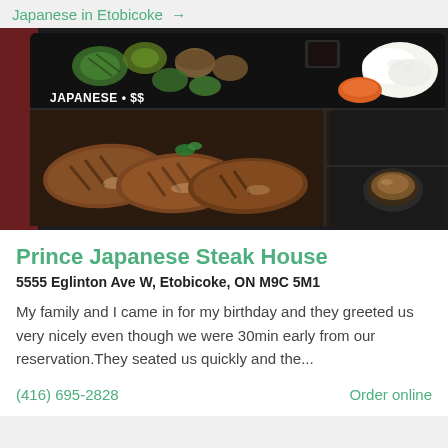Japanese in Etobicoke →
[Figure (photo): A Japanese bento box with grilled steak slices, grilled vegetables (zucchini, mushrooms), white rice, orange garnish, and a small dipping sauce cup. Overlay text reads: JAPANESE • $$]
Prince Japanese Steak House
5555 Eglinton Ave W, Etobicoke, ON M9C 5M1
My family and I came in for my birthday and they greeted us very nicely even though we were 30min early from our reservation.They seated us quickly and the...
(416) 695-2828
Order online